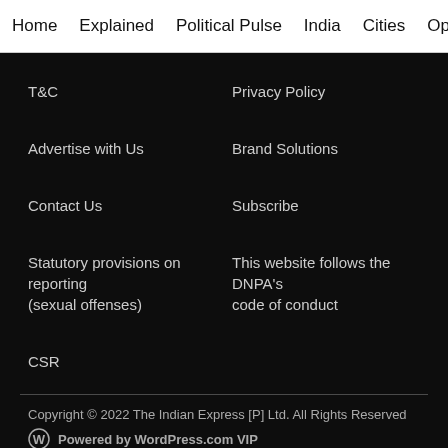Home   Explained   Political Pulse   India   Cities   Opinion   Entertainment
T&C
Privacy Policy
Advertise with Us
Brand Solutions
Contact Us
Subscribe
Statutory provisions on reporting (sexual offenses)
This website follows the DNPA's code of conduct
CSR
Copyright © 2022 The Indian Express [P] Ltd. All Rights Reserved
Powered by WordPress.com VIP